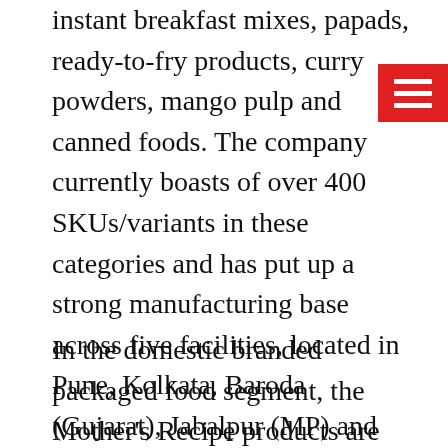instant breakfast mixes, papads, ready-to-fry products, curry powders, mango pulp and canned foods. The company currently boasts of over 400 SKUs/variants in these categories and has put up a strong manufacturing base across five facilities, located in Pune, Kolkata, Baroda (Gujarat), Jabalpur (MP) and Kattebennur (Karnataka).
In the domestic branded packaged food segment, the Mother's Recipe products are leaders in most of the categories, with their market shares varying from 20 per cent to 30 per cent. In branded pickle category, the brand enjoys almost 30 per cent market share while, in pastes commands about 25 per cent of the